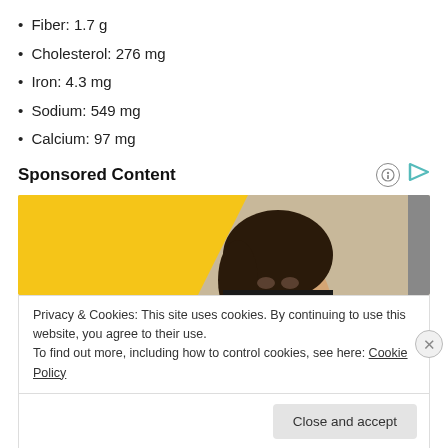Fiber: 1.7 g
Cholesterol: 276 mg
Iron: 4.3 mg
Sodium: 549 mg
Calcium: 97 mg
Sponsored Content
[Figure (photo): Advertisement banner showing a person's face against a yellow background, with a cookie consent overlay and Close and accept button.]